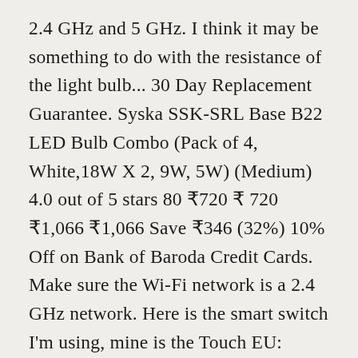2.4 GHz and 5 GHz. I think it may be something to do with the resistance of the light bulb... 30 Day Replacement Guarantee. Syska SSK-SRL Base B22 LED Bulb Combo (Pack of 4, White,18W X 2, 9W, 5W) (Medium) 4.0 out of 5 stars 80 ₹720 ₹ 720 ₹1,066 ₹1,066 Save ₹346 (32%) 10% Off on Bank of Baroda Credit Cards. Make sure the Wi-Fi network is a 2.4 GHz network. Here is the smart switch I'm using, mine is the Touch EU: Sonoff Touch: WiFi Remote Smart Wall Switch Light Switch I know they are definitely G9 bulbs as I ... Control Syska smart lights with your voice. VOICE CONTROL – Manufactured with Techno friendly characteristics, Light bulb can be monitored and. If not, check that the power...